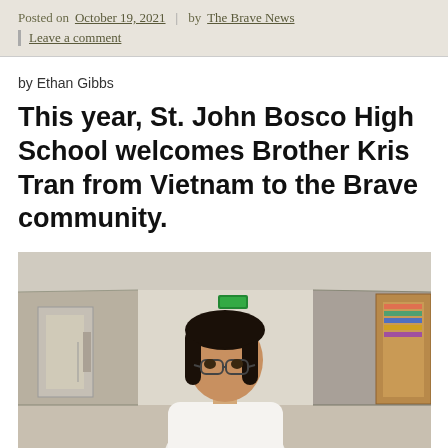Posted on October 19, 2021 | by The Brave News | Leave a comment
by Ethan Gibbs
This year, St. John Bosco High School welcomes Brother Kris Tran from Vietnam to the Brave community.
[Figure (photo): A man with dark shoulder-length hair and glasses wearing a white shirt, standing in a school hallway with doors visible on both sides and a green exit sign in the background.]